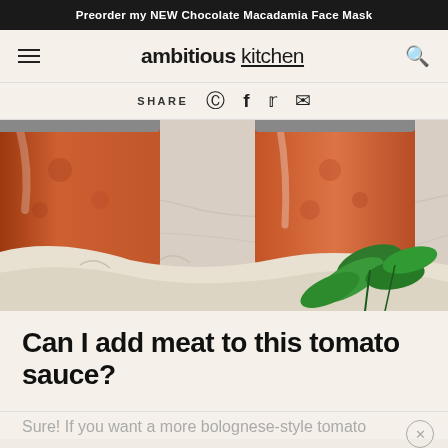Preorder my NEW Chocolate Macadamia Face Mask
ambitious kitchen
SHARE
[Figure (photo): Two glass jars filled with chunky tomato sauce on a marble surface, with a cream linen cloth and fresh basil leaves in the foreground]
Can I add meat to this tomato sauce?
Sure! If you want a more bolognese-style tomato